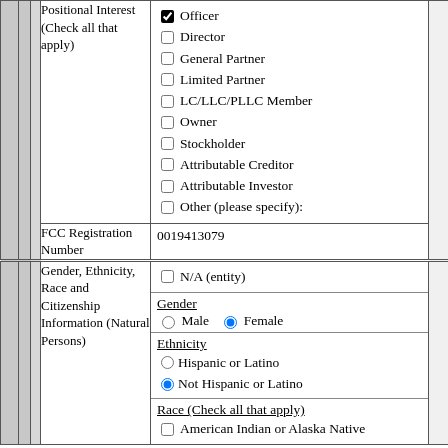| Positional Interest (Check all that apply) | Officer [checked], Director, General Partner, Limited Partner, LC/LLC/PLLC Member, Owner, Stockholder, Attributable Creditor, Attributable Investor, Other (please specify): |
| FCC Registration Number | 0019413079 |
| Gender, Ethnicity, Race and Citizenship Information (Natural Persons) | N/A (entity) [checkbox]
Gender: Male [radio] Female [radio selected]
Ethnicity: Hispanic or Latino [radio] / Not Hispanic or Latino [radio selected]
Race (Check all that apply): American Indian or Alaska Native [checkbox] |